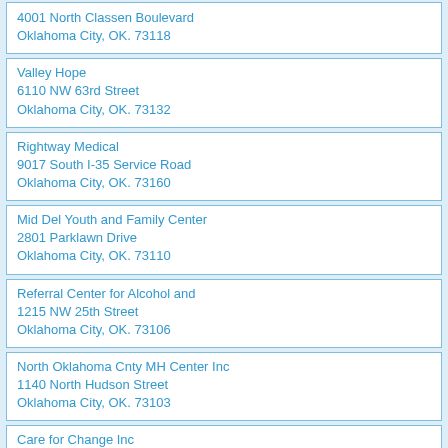4001 North Classen Boulevard
Oklahoma City, OK. 73118
Valley Hope
6110 NW 63rd Street
Oklahoma City, OK. 73132
Rightway Medical
9017 South I-35 Service Road
Oklahoma City, OK. 73160
Mid Del Youth and Family Center
2801 Parklawn Drive
Oklahoma City, OK. 73110
Referral Center for Alcohol and
1215 NW 25th Street
Oklahoma City, OK. 73106
North Oklahoma Cnty MH Center Inc
1140 North Hudson Street
Oklahoma City, OK. 73103
Care for Change Inc
3621 Kelley Avenue
Oklahoma City, OK. 73111